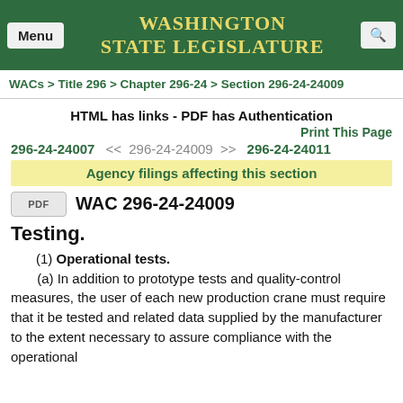WASHINGTON STATE LEGISLATURE
WACs > Title 296 > Chapter 296-24 > Section 296-24-24009
HTML has links - PDF has Authentication
Print This Page
296-24-24007 << 296-24-24009 >> 296-24-24011
Agency filings affecting this section
WAC 296-24-24009
Testing.
(1) Operational tests. (a) In addition to prototype tests and quality-control measures, the user of each new production crane must require that it be tested and related data supplied by the manufacturer to the extent necessary to assure compliance with the operational